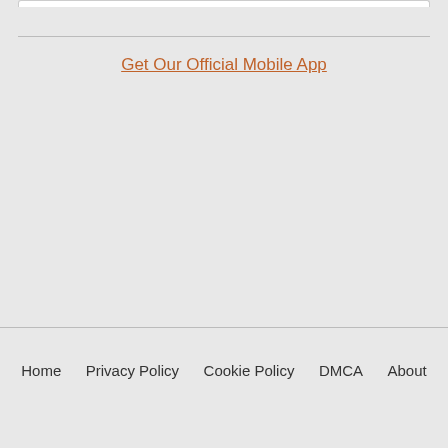Get Our Official Mobile App
Home  Privacy Policy  Cookie Policy  DMCA  About